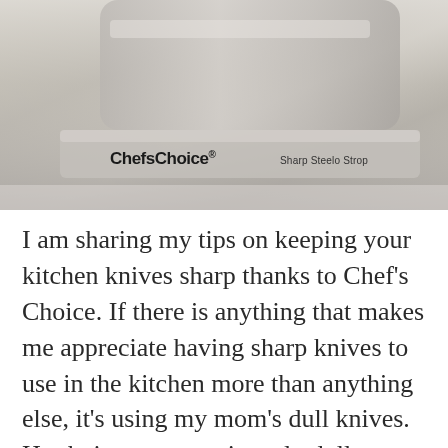[Figure (photo): Close-up photo of a ChefsChoice knife sharpener, silver/metallic colored device, with 'ChefsChoice' brand name on the left and 'Sharp Steelo Strop' text on the right]
I am sharing my tips on keeping your kitchen knives sharp thanks to Chef's Choice. If there is anything that makes me appreciate having sharp knives to use in the kitchen more than anything else, it's using my mom's dull knives. Her knives are consistently dull, making it difficult to cut through food properly. Add to that, the fact that she always uses the wrong types of knives for jobs, and it makes me want to gift